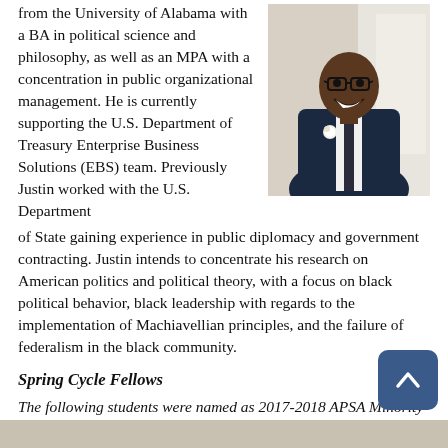Justin Zimmerman graduated from the University of Alabama with a BA in political science and philosophy, as well as an MPA with a concentration in public organizational management. He is currently supporting the U.S. Department of Treasury Enterprise Business Solutions (EBS) team. Previously Justin worked with the U.S. Department of State gaining experience in public diplomacy and government contracting. Justin intends to concentrate his research on American politics and political theory, with a focus on black political behavior, black leadership with regards to the implementation of Machiavellian principles, and the failure of federalism in the black community.
[Figure (photo): Portrait photo of Justin Zimmerman, a young Black man in a navy suit with a white boutonniere flower, smiling, wearing glasses.]
Spring Cycle Fellows
The following students were named as 2017-2018 APSA Minority Fellowship Program recipients during the spring 2017 application cycle. These fellows are currently first second year PhD students in political science. Complete bios for each fellow appear below.